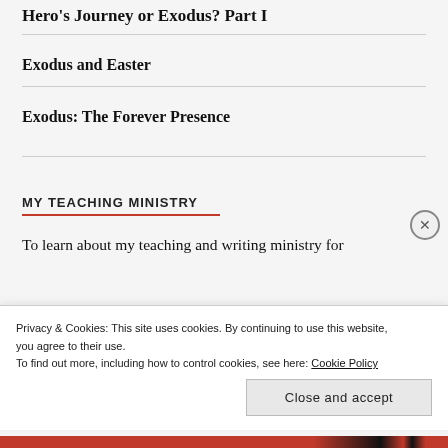Hero's Journey or Exodus? Part I
Exodus and Easter
Exodus: The Forever Presence
MY TEACHING MINISTRY
To learn about my teaching and writing ministry for
Privacy & Cookies: This site uses cookies. By continuing to use this website, you agree to their use.
To find out more, including how to control cookies, see here: Cookie Policy
Close and accept